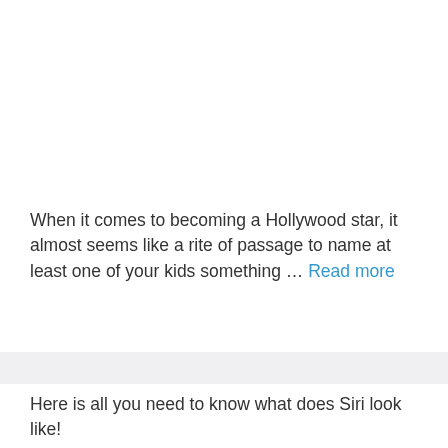When it comes to becoming a Hollywood star, it almost seems like a rite of passage to name at least one of your kids something … Read more
Here is all you need to know what does Siri look like!